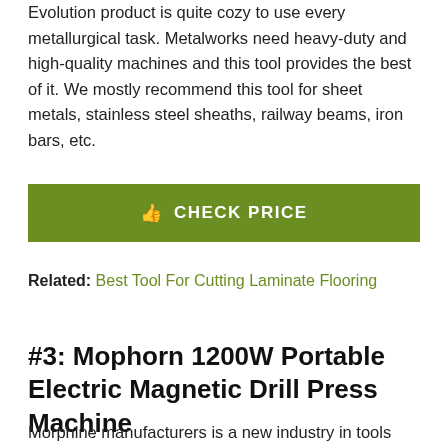Evolution product is quite cozy to use every metallurgical task. Metalworks need heavy-duty and high-quality machines and this tool provides the best of it. We mostly recommend this tool for sheet metals, stainless steel sheaths, railway beams, iron bars, etc.
CHECK PRICE
Related: Best Tool For Cutting Laminate Flooring
#3: Mophorn 1200W Portable Electric Magnetic Drill Press Machine
Morphine manufacturers is a new industry in tools processing and building. As a newcomer they've got